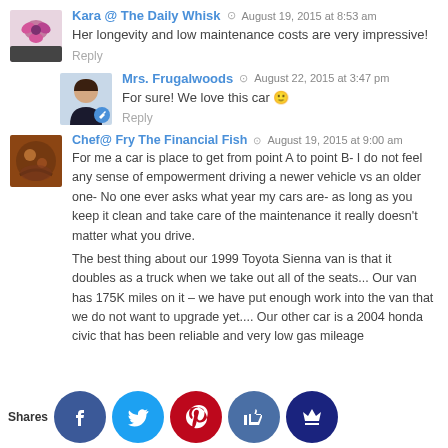Kara @ The Daily Whisk — August 19, 2015 at 8:53 am
Her longevity and low maintenance costs are very impressive!
Reply
Mrs. Frugalwoods — August 22, 2015 at 3:47 pm
For sure! We love this car 🙂
Reply
Chef@ Fry The Financial Fish — August 19, 2015 at 9:00 am
For me a car is place to get from point A to point B- I do not feel any sense of empowerment driving a newer vehicle vs an older one- No one ever asks what year my cars are- as long as you keep it clean and take care of the maintenance it really doesn't matter what you drive.
The best thing about our 1999 Toyota Sienna van is that it doubles as a truck when we take out all of the seats... Our van has 175K miles on it – we have put enough work into the van that we do not want to upgrade yet.... Our other car is a 2004 honda civic that has been reliable and very low gas mileage